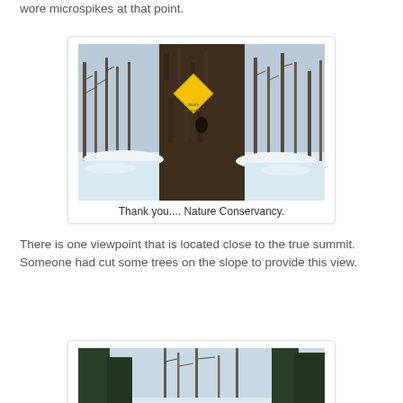wore microspikes at that point.
[Figure (photo): A large tree trunk in a winter forest with snow on the ground. A yellow diamond-shaped Nature Conservancy sign is nailed to the tree.]
Thank you.... Nature Conservancy.
There is one viewpoint that is located close to the true summit.  Someone had cut some trees on the slope to provide this view.
[Figure (photo): A winter forest scene looking up through bare and evergreen trees toward a pale sky, with snow visible.]